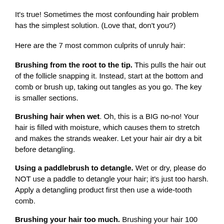It's true! Sometimes the most confounding hair problem has the simplest solution. (Love that, don't you?)
Here are the 7 most common culprits of unruly hair:
Brushing from the root to the tip. This pulls the hair out of the follicle snapping it. Instead, start at the bottom and comb or brush up, taking out tangles as you go. The key is smaller sections.
Brushing hair when wet. Oh, this is a BIG no-no! Your hair is filled with moisture, which causes them to stretch and makes the strands weaker. Let your hair air dry a bit before detangling.
Using a paddlebrush to detangle. Wet or dry, please do NOT use a paddle to detangle your hair; it's just too harsh. Apply a detangling product first then use a wide-tooth comb.
Brushing your hair too much. Brushing your hair 100 strokes each night will do you more harm than good. Over